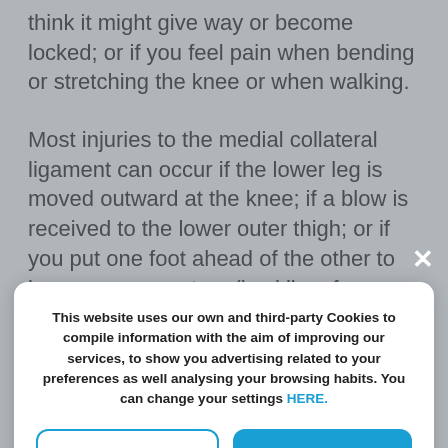think it might give way or become locked; or if you feel pain when bending or stretching the knee or when walking.
Most injuries to the medial collateral ligament can occur if the lower leg is moved outward at the knee; if a blow is received to the lower outer thigh; or if you put one foot ahead of the other to increase momentum (in skiing, for example). This causes total or partial ligament distension
This website uses our own and third-party Cookies to compile information with the aim of improving our services, to show you advertising related to your preferences as well analysing your browsing habits. You can change your settings HERE.
Reject
Accept all
Custom configuration | Cookies Policy | Privacy Policy